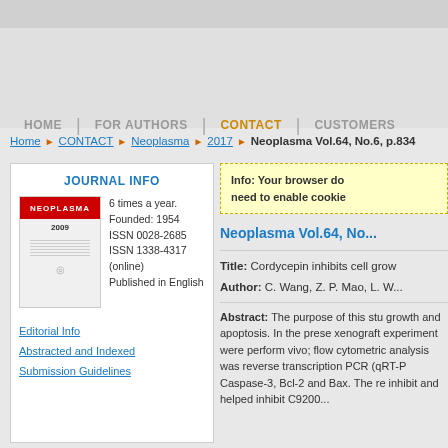HOME | FOR AUTHORS | CONTACT | CUSTOMERS
Home > CONTACT > Neoplasma > 2017 > Neoplasma Vol.64, No.6, p.834
JOURNAL INFO
6 times a year. Founded: 1954 ISSN 0028-2685 ISSN 1338-4317 (online) Published in English
Editorial Info
Abstracted and Indexed
Submission Guidelines
Info: Your browser do need to enable cookie
Neoplasma Vol.64, No...
Title: Cordycepin inhibits cell grow Author: C. Wang, Z. P. Mao, L. W...
Abstract: The purpose of this study growth and apoptosis. In the present xenograft experiment were performed vivo; flow cytometric analysis was reverse transcription PCR (qRT-PC Caspase-3, Bcl-2 and Bax. The re inhibit and helped inhibit C9200...